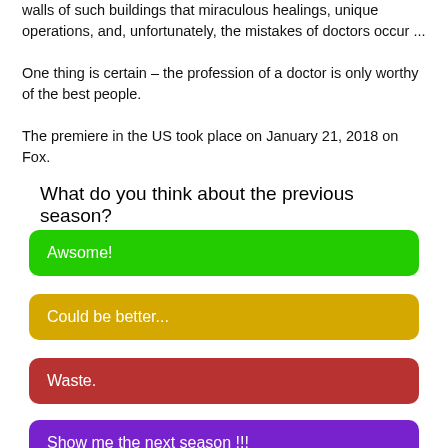walls of such buildings that miraculous healings, unique operations, and, unfortunately, the mistakes of doctors occur ...
One thing is certain – the profession of a doctor is only worthy of the best people.

The premiere in the US took place on January 21, 2018 on Fox.
What do you think about the previous season?
Awsome!
Could be better...
Waste.
Show me the next season !!!